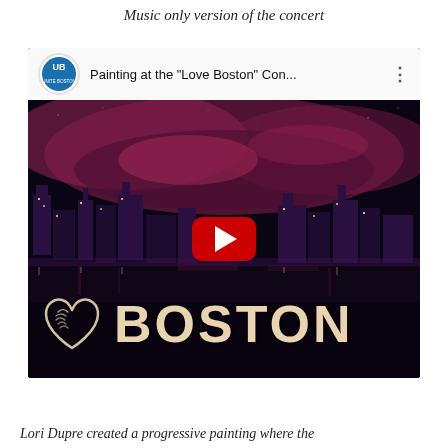Music only version of the concert
[Figure (screenshot): YouTube video thumbnail showing a painting of the Boston skyline at night with purple and red clouds. The video title reads 'Painting at the "Love Boston" Con...' with a Unite Boston logo. A red YouTube play button is centered on the thumbnail. The bottom of the image shows a sketched heart and the word 'BOSTON' in large beige letters.]
Lori Dupre created a progressive painting where the